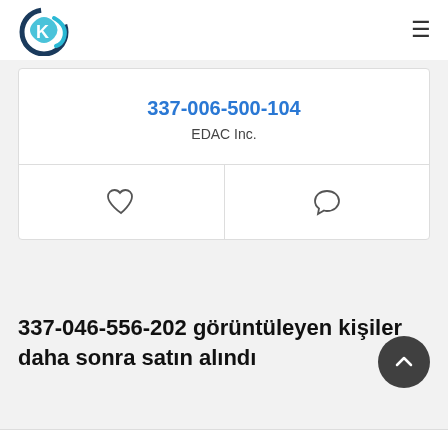KD logo and hamburger menu
337-006-500-104
EDAC Inc.
[Figure (illustration): Heart (like) icon and speech bubble (comment) icon in a two-column action bar]
337-046-556-202 görüntüleyen kişiler daha sonra satın alındı